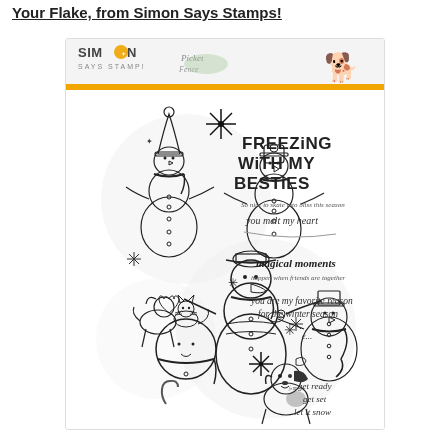Your Flake, from Simon Says Stamps!
[Figure (illustration): Simon Says Stamp product packaging showing a stamp set called 'Freezing With My Besties' featuring snowman characters with animals (cat, dog), winter sentiments including 'Freezing With My Besties', 'you melt my heart', 'magical moments happen when friends are together', 'you are my favorite reason for the winter season', 'get ready get set let it snow'. Simon Says Stamp and Picket Fence logos visible in header with orange bar below.]